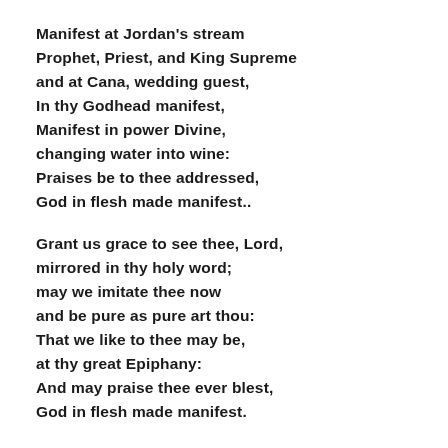Manifest at Jordan's stream
Prophet, Priest, and King Supreme
and at Cana, wedding guest,
In thy Godhead manifest,
Manifest in power Divine,
changing water into wine:
Praises be to thee addressed,
God in flesh made manifest..

Grant us grace to see thee, Lord,
mirrored in thy holy word;
may we imitate thee now
and be pure as pure art thou:
That we like to thee may be,
at thy great Epiphany:
And may praise thee ever blest,
God in flesh made manifest.